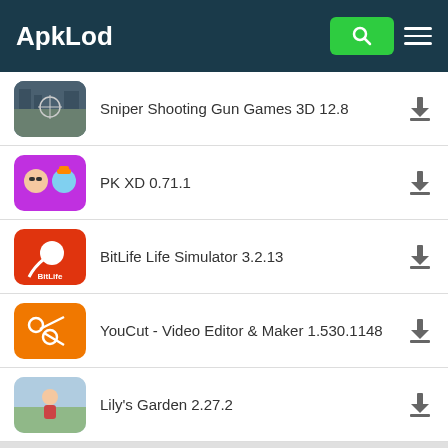ApkLod
Sniper Shooting Gun Games 3D 12.8
PK XD 0.71.1
BitLife Life Simulator 3.2.13
YouCut - Video Editor & Maker 1.530.1148
Lily's Garden 2.27.2